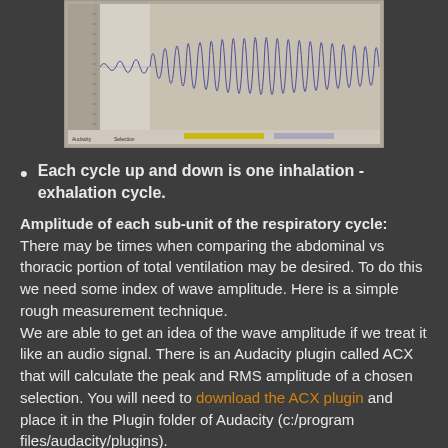[Figure (continuous-plot): Audacity waveform screenshot showing an audio/respiratory signal. The waveform starts with smaller amplitude on the left (highlighted region) then grows into dense, continuous oscillations filling the right portion. A toolbar/status bar is visible at the bottom of the screenshot. Background is gray with blue waveform.]
Each cycle up and down is one inhalation - exhalation cycle.
Amplitude of each sub-unit of the respiratory cycle: There may be times when comparing the abdominal vs thoracic portion of total ventilation may be desired. To do this we need some index of wave amplitude. Here is a simple rough measurement technique.
We are able to get an idea of the wave amplitude if we treat it like an audio signal. There is an Audacity plugin called ACX that will calculate the peak and RMS amplitude of a chosen selection. You will need to download the ACX plugin and place it in the Plugin folder of Audacity (c:/program files/audacity/plugins).